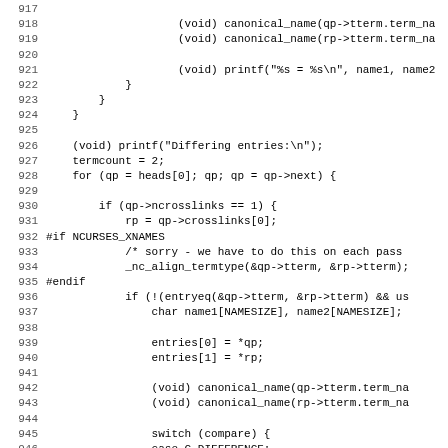[Figure (screenshot): Source code listing (C code) with line numbers 917-948, showing terminal comparison logic with canonical_name calls, printf statements, loop over heads array, crosslink checks, NCURSES_XNAMES preprocessor block, entryeq check, and switch on compare with C_DIFFERENCE case.]